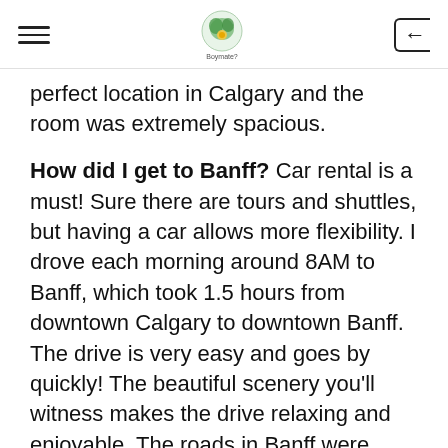[hamburger menu] [logo: Boymate?] [back arrow]
perfect location in Calgary and the room was extremely spacious.
How did I get to Banff? Car rental is a must! Sure there are tours and shuttles, but having a car allows more flexibility. I drove each morning around 8AM to Banff, which took 1.5 hours from downtown Calgary to downtown Banff. The drive is very easy and goes by quickly! The beautiful scenery you'll witness makes the drive relaxing and enjoyable. The roads in Banff were easy to navigate and not scary at all! I normally get worried about driving